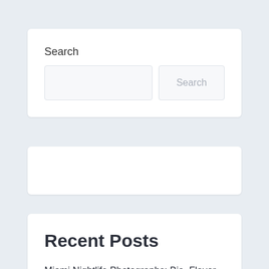Search
[Figure (screenshot): Search input box with a Search button]
[Figure (screenshot): Empty white card/widget area]
Recent Posts
Miami Nightlife Photographs: Bia, Flavor Flav, Mack Maine